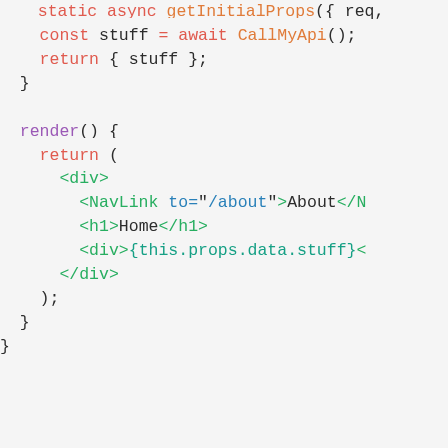[Figure (screenshot): Syntax-highlighted JavaScript/JSX code snippet showing getInitialProps async static method and a render() method with JSX markup including NavLink, h1, and div elements.]